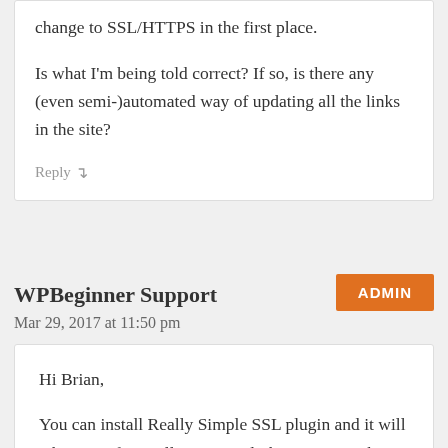change to SSL/HTTPS in the first place.
Is what I'm being told correct? If so, is there any (even semi-)automated way of updating all the links in the site?
Reply ↵
WPBeginner Support
ADMIN
Mar 29, 2017 at 11:50 pm
Hi Brian,
You can install Really Simple SSL plugin and it will take care of partially insecure links on your website.